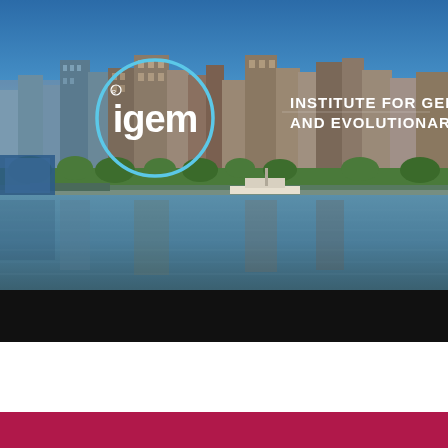[Figure (photo): City skyline photo (appears to be Camden/Philadelphia waterfront) with blue sky, brick buildings, waterfront, and their reflections in the water. The iGEM logo (circle with lowercase text) and 'INSTITUTE FOR GENOMICS AND EVOLUTIONARY MEDICINE' text overlay in white appear in the upper portion of the photo.]
igem
INSTITUTE FOR GENOMICS
AND EVOLUTIONARY MEDICINE